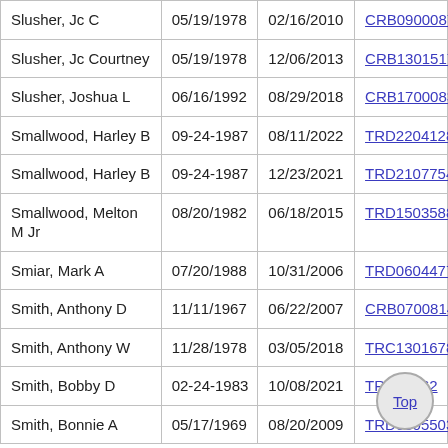| Slusher, Jc C | 05/19/1978 | 02/16/2010 | CRB0900087 |
| Slusher, Jc Courtney | 05/19/1978 | 12/06/2013 | CRB1301517 |
| Slusher, Joshua L | 06/16/1992 | 08/29/2018 | CRB1700083 |
| Smallwood, Harley B | 09-24-1987 | 08/11/2022 | TRD2204128 |
| Smallwood, Harley B | 09-24-1987 | 12/23/2021 | TRD2107754 |
| Smallwood, Melton M Jr | 08/20/1982 | 06/18/2015 | TRD1503588 |
| Smiar, Mark A | 07/20/1988 | 10/31/2006 | TRD0604477 |
| Smith, Anthony D | 11/11/1967 | 06/22/2007 | CRB0700814 |
| Smith, Anthony W | 11/28/1978 | 03/05/2018 | TRC1301678 |
| Smith, Bobby D | 02-24-1983 | 10/08/2021 | TRD21062… |
| Smith, Bonnie A | 05/17/1969 | 08/20/2009 | TRD0805503 |